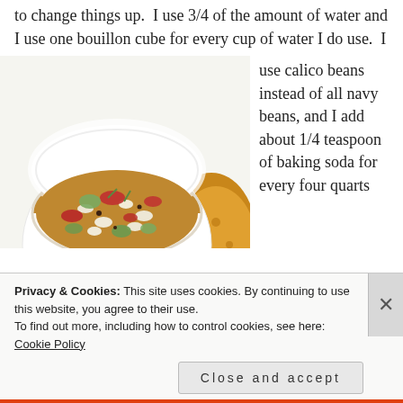to change things up.  I use 3/4 of the amount of water and I use one bouillon cube for every cup of water I do use.  I use calico beans instead of all navy beans, and I add about 1/4 teaspoon of baking soda for every four quarts
[Figure (photo): A white bowl filled with bean and vegetable soup (calico beans, tomatoes, green peppers, meat pieces), served with crackers on a white background.]
Privacy & Cookies: This site uses cookies. By continuing to use this website, you agree to their use.
To find out more, including how to control cookies, see here: Cookie Policy
Close and accept